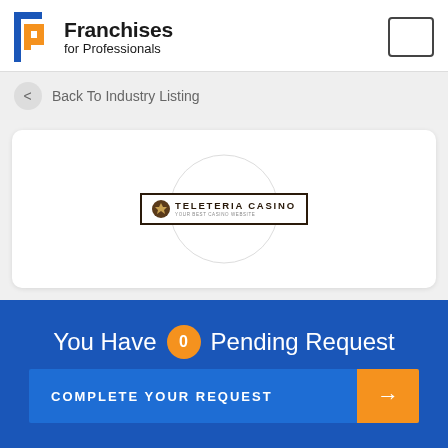[Figure (logo): Franchises for Professionals logo with blue and orange F-shaped icon and bold text]
Back To Industry Listing
[Figure (logo): Teleteria Casino logo inside a bordered box and circle background]
You Have 0 Pending Request
COMPLETE YOUR REQUEST